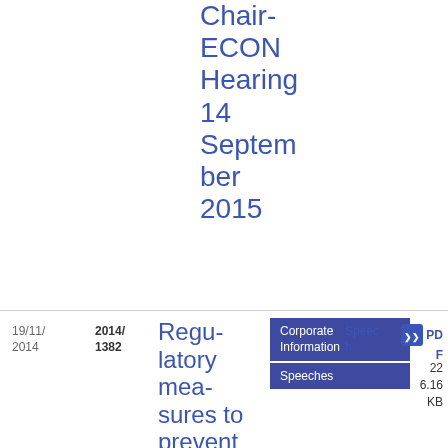Chair-ECON Hearing 14 September 2015
| Date | Doc Number | Title | Type | Format | Size |
| --- | --- | --- | --- | --- | --- |
| 19/11/2014 | 2014/1382 | Regulatory measures to prevent another... | Speech | PDF | 226.16 KB |